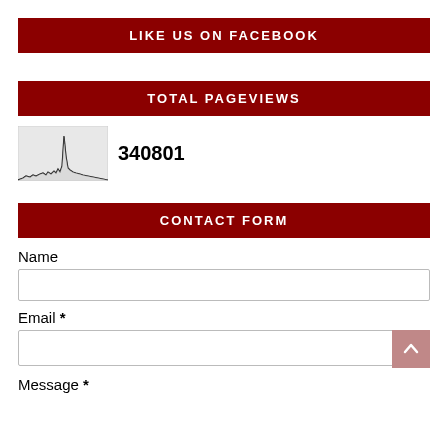LIKE US ON FACEBOOK
TOTAL PAGEVIEWS
[Figure (continuous-plot): Small pageviews histogram/area chart showing traffic over time with a prominent spike]
340801
CONTACT FORM
Name
Email *
Message *